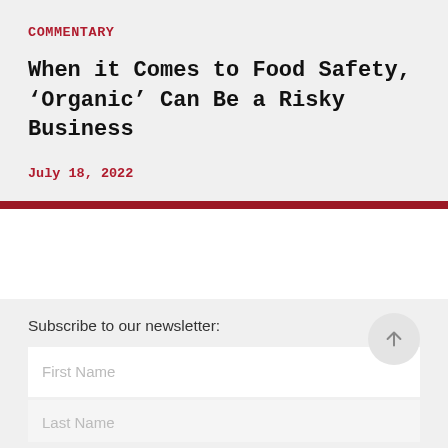COMMENTARY
When it Comes to Food Safety, ‘Organic’ Can Be a Risky Business
July 18, 2022
Subscribe to our newsletter:
First Name
Last Name